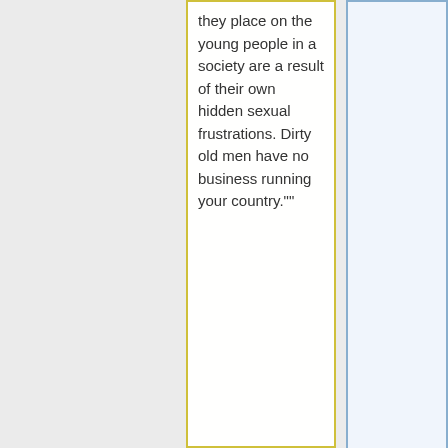they place on the young people in a society are a result of their own hidden sexual frustrations. Dirty old men have no business running your country.""
<blockquote>" [[Brown Shoes Don't Make It]] is a song about the people who run the governments, the people who make the laws that keep you from living the kind of life you know you should lead. These